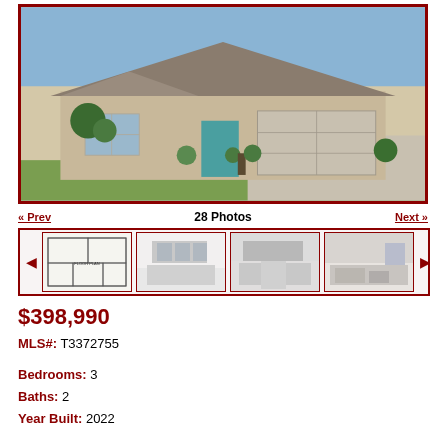[Figure (photo): Exterior front view of a single-story residential home with tan/beige stucco exterior, teal front door, two-car garage, and landscaped front yard with blue sky.]
« Prev   28 Photos   Next »
[Figure (other): Thumbnail strip showing floor plan and interior kitchen/living area photos of the property.]
$398,990
MLS#: T3372755
Bedrooms: 3
Baths: 2
Year Built: 2022